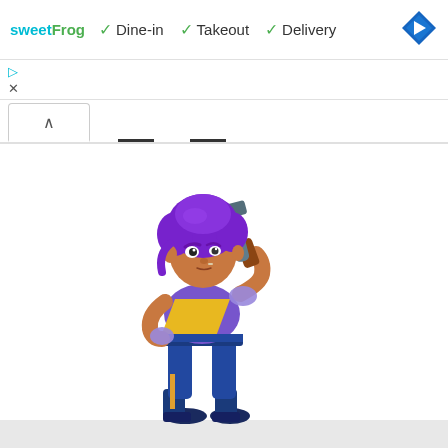sweetFrog  ✓ Dine-in  ✓ Takeout  ✓ Delivery
[Figure (screenshot): Mobile app UI screenshot showing sweetFrog logo, Dine-in, Takeout, Delivery options with checkmarks, a blue diamond navigation icon, a play button, close button, tab with up arrow, and a Brawl Stars character (Shelly) with purple hair holding a shotgun, wearing purple shirt and yellow bandana]